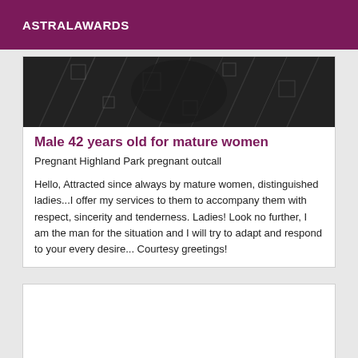ASTRALAWARDS
[Figure (photo): Dark photograph showing a person wearing a black patterned garment, partially cropped]
Male 42 years old for mature women
Pregnant Highland Park pregnant outcall
Hello, Attracted since always by mature women, distinguished ladies...I offer my services to them to accompany them with respect, sincerity and tenderness. Ladies! Look no further, I am the man for the situation and I will try to adapt and respond to your every desire... Courtesy greetings!